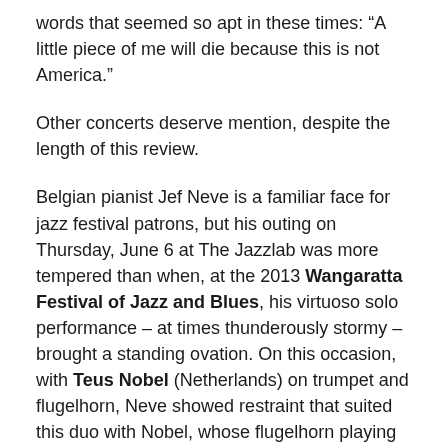words that seemed so apt in these times: “A little piece of me will die because this is not America.”
Other concerts deserve mention, despite the length of this review.
Belgian pianist Jef Neve is a familiar face for jazz festival patrons, but his outing on Thursday, June 6 at The Jazzlab was more tempered than when, at the 2013 Wangaratta Festival of Jazz and Blues, his virtuoso solo performance – at times thunderously stormy – brought a standing ovation. On this occasion, with Teus Nobel (Netherlands) on trumpet and flugelhorn, Neve showed restraint that suited this duo with Nobel, whose flugelhorn playing had an uncharacteristic edge for that mellow instrument.